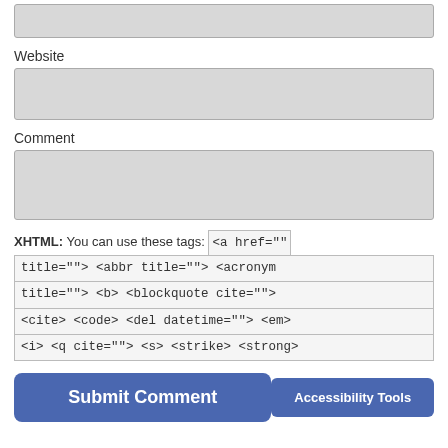[Figure (screenshot): Top portion of a web form input box (text field, partially visible at top)]
Website
[Figure (screenshot): Website input text field (empty, light gray background)]
Comment
[Figure (screenshot): Comment textarea field (empty, light gray background, resizable)]
XHTML: You can use these tags: <a href="" title=""> <abbr title=""> <acronym title=""> <b> <blockquote cite=""> <cite> <code> <del datetime=""> <em> <i> <q cite=""> <s> <strike> <strong>
[Figure (screenshot): Submit Comment button (blue, rounded) and Accessibility Tools button (blue, rounded)]